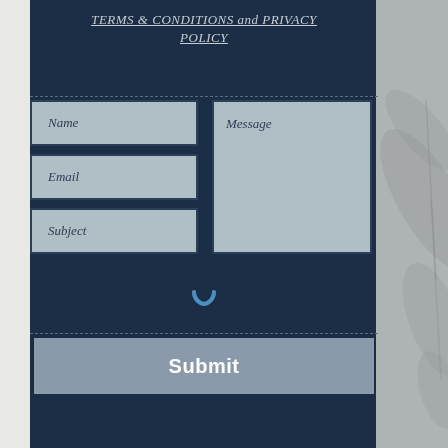TERMS & CONDITIONS and PRIVACY POLICY
[Figure (screenshot): Web contact form UI with fields: Name, Email, Subject on the left; Message textarea on the right; a loading spinner arc in the center; a Submit button at the bottom. Dark navy background with light blue-grey form fields.]